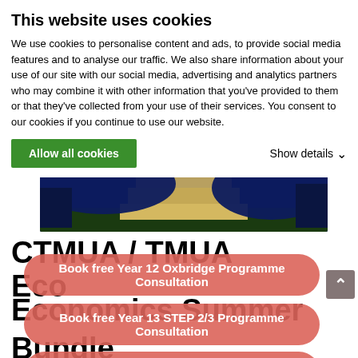This website uses cookies
We use cookies to personalise content and ads, to provide social media features and to analyse our traffic. We also share information about your use of our site with our social media, advertising and analytics partners who may combine it with other information that you’ve provided to them or that they’ve collected from your use of their services. You consent to our cookies if you continue to use our website.
Allow all cookies
Show details ⌄
[Figure (photo): Nighttime photo of a stone monument or column with dark blue sky, partially obscured by large dark blue elliptical overlay shapes]
CTMUA / TMUA Eco
Economics Summer
Bundle
£1,099.00  £999.00 for 6
Book free Year 12 Oxbridge Programme Consultation
Book free Year 13 STEP 2/3 Programme Consultation
Book free Year 12/13 Medicine Mastermind